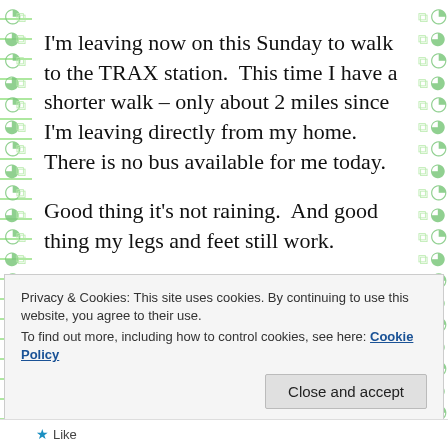I'm leaving now on this Sunday to walk to the TRAX station.  This time I have a shorter walk – only about 2 miles since I'm leaving directly from my home.  There is no bus available for me today.

Good thing it's not raining.  And good thing my legs and feet still work.
Privacy & Cookies: This site uses cookies. By continuing to use this website, you agree to their use. To find out more, including how to control cookies, see here: Cookie Policy
Close and accept
Like